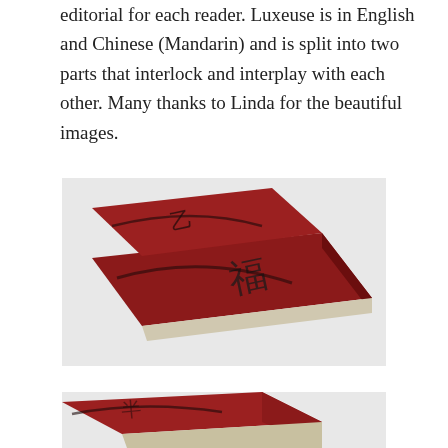editorial for each reader. Luxeuse is in English and Chinese (Mandarin) and is split into two parts that interlock and interplay with each other. Many thanks to Linda for the beautiful images.
[Figure (photo): A red hardcover book with Chinese calligraphy embossed on the cover, shown at an angle revealing the spine and pages, photographed on a white background.]
[Figure (photo): A close-up partial view of the same red hardcover book with Chinese calligraphy, showing the corner and spine detail.]